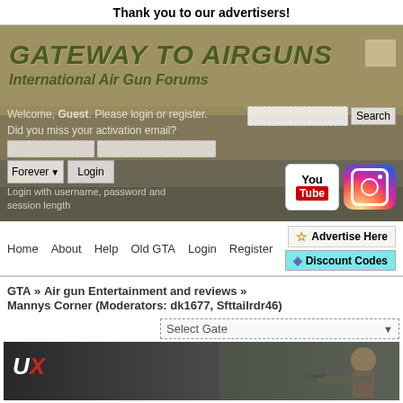Thank you to our advertisers!
[Figure (screenshot): Gateway to Airguns website header banner with title 'GATEWAY TO AIRGUNS' and subtitle 'International Air Gun Forums', login form, search box, YouTube and Instagram social buttons]
Welcome, Guest. Please login or register. Did you miss your activation email?
Login with username, password and session length
Home   About   Help   Old GTA   Login   Register
Advertise Here
Discount Codes
GTA » Air gun Entertainment and reviews »
Mannys Corner (Moderators: dk1677, Sfttailrdr46)
Select Gate
[Figure (screenshot): Bottom banner advertisement with UX logo in red and white on dark background, person with airgun on right side]